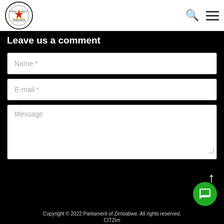[Figure (logo): Parliament of Zimbabwe circular logo with star and crest]
Leave us a comment
Name *
E-mail *
Message
Submit
Copyright © 2022 Parliament of Zimbabwe. All rights reserved. CITZim